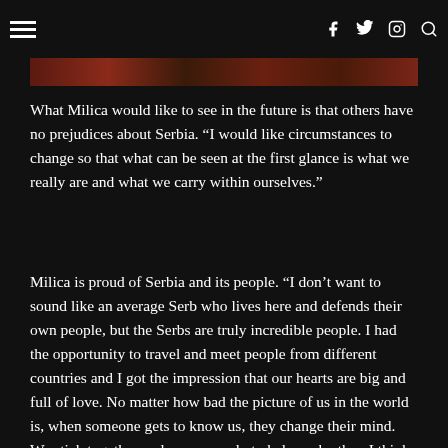≡  f  twitter  instagram  search
[Figure (photo): Dark banner image, partially visible, with brownish-red tones]
What Milica would like to see in the future is that others have no prejudices about Serbia. “I would like circumstances to change so that what can be seen at the first glance is what we really are and what we carry within ourselves.”
Milica is proud of Serbia and its people. “I don’t want to sound like an average Serb who lives here and defends their own people, but the Serbs are truly incredible people. I had the opportunity to travel and meet people from different countries and I got the impression that our hearts are big and full of love. No matter how bad the picture of us in the world is, when someone gets to know us, they change their mind. We stick together and we are ready to help each other. I think this is what we need to